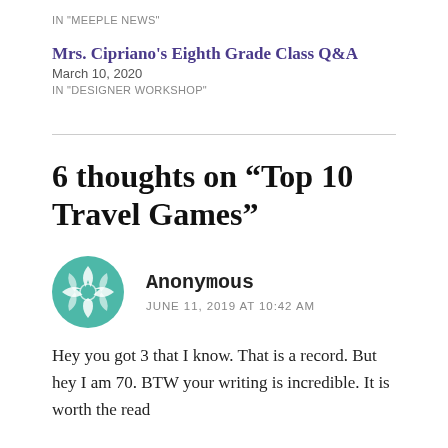IN "MEEPLE NEWS"
Mrs. Cipriano's Eighth Grade Class Q&A
March 10, 2020
IN "DESIGNER WORKSHOP"
6 thoughts on “Top 10 Travel Games”
Anonymous
JUNE 11, 2019 AT 10:42 AM
Hey you got 3 that I know. That is a record. But hey I am 70. BTW your writing is incredible. It is worth the read